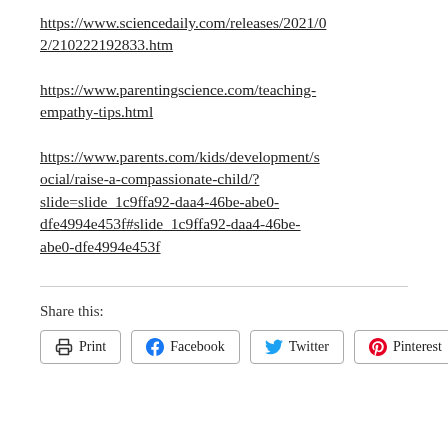https://www.sciencedaily.com/releases/2021/02/210222192833.htm
https://www.parentingscience.com/teaching-empathy-tips.html
https://www.parents.com/kids/development/social/raise-a-compassionate-child/?slide=slide_1c9ffa92-daa4-46be-abe0-dfe4994e453f#slide_1c9ffa92-daa4-46be-abe0-dfe4994e453f
Share this:
Print  Facebook  Twitter  Pinterest